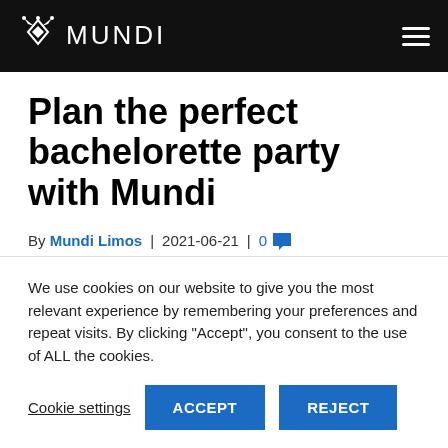MUNDI
Plan the perfect bachelorette party with Mundi
By Mundi Limos | 2021-06-21 | 0
We use cookies on our website to give you the most relevant experience by remembering your preferences and repeat visits. By clicking "Accept", you consent to the use of ALL the cookies.
Cookie settings  ACCEPT  REJECT